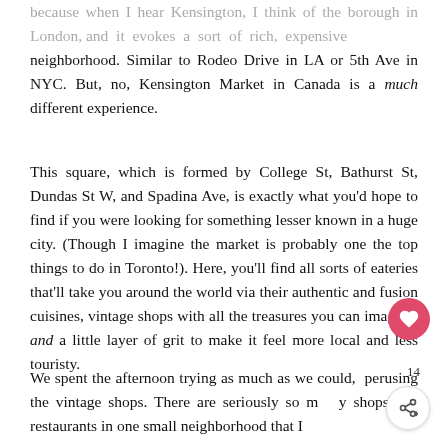because when I hear Kensington, I think of the borough in London, and it evokes a sort of rich, expensive neighborhood. Similar to Rodeo Drive in LA or 5th Ave in NYC. But, no, Kensington Market in Canada is a much different experience.
This square, which is formed by College St, Bathurst St, Dundas St W, and Spadina Ave, is exactly what you'd hope to find if you were looking for something lesser known in a huge city. (Though I imagine the market is probably one the top things to do in Toronto!). Here, you'll find all sorts of eateries that'll take you around the world via their authentic and fusion cuisines, vintage shops with all the treasures you can imagine, and a little layer of grit to make it feel more local and less touristy.
We spent the afternoon trying as much as we could, perusing the vintage shops. There are seriously so many shops and restaurants in one small neighborhood that I